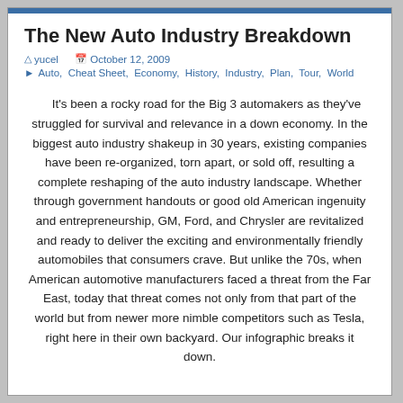The New Auto Industry Breakdown
yucel   October 12, 2009
Auto, Cheat Sheet, Economy, History, Industry, Plan, Tour, World
It's been a rocky road for the Big 3 automakers as they've struggled for survival and relevance in a down economy. In the biggest auto industry shakeup in 30 years, existing companies have been re-organized, torn apart, or sold off, resulting a complete reshaping of the auto industry landscape. Whether through government handouts or good old American ingenuity and entrepreneurship, GM, Ford, and Chrysler are revitalized and ready to deliver the exciting and environmentally friendly automobiles that consumers crave. But unlike the 70s, when American automotive manufacturers faced a threat from the Far East, today that threat comes not only from that part of the world but from newer more nimble competitors such as Tesla, right here in their own backyard. Our infographic breaks it down.